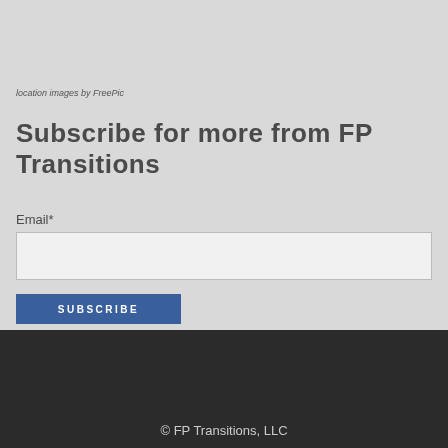location images by FreePic
Subscribe for more from FP Transitions
Email*
SUBSCRIBE
© FP Transitions, LLC